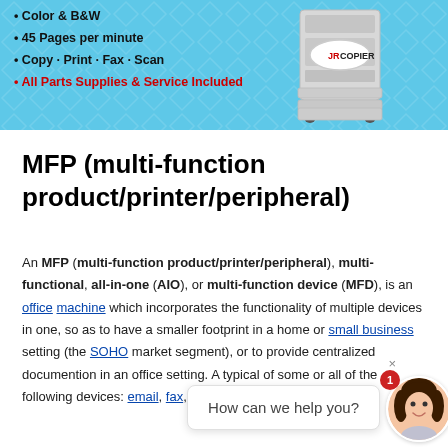[Figure (advertisement): JR Copier advertisement banner with light blue diamond-pattern background, a photocopier image on the right, bullet points listing features: Color & B&W, 45 Pages per minute, Copy - Print - Fax - Scan, All Parts Supplies & Service Included (in red). JR Copier logo badge displayed.]
MFP (multi-function product/printer/peripheral)
An MFP (multi-function product/printer/peripheral), multi-functional, all-in-one (AIO), or multi-function device (MFD), is an office machine which incorporates the functionality of multiple devices in one, so as to have a smaller footprint in a home or small business setting (the SOHO market segment), or to provide centralized document management/sharing, and optimised production in an office setting. A typical MFP may act as a combination of some or all of the following devices: email, fax, photocopier, printer, scanner.
[Figure (screenshot): Chat widget overlay showing a woman avatar and a speech bubble saying 'How can we help you?' with a red notification badge showing '1' and a close button 'x'.]